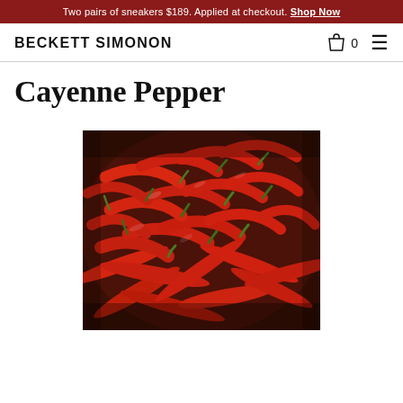Two pairs of sneakers $189. Applied at checkout. Shop Now
BECKETT SIMONON
Cayenne Pepper
[Figure (photo): A large pile of fresh red cayenne peppers with green stems, photographed from above, filling the entire frame.]